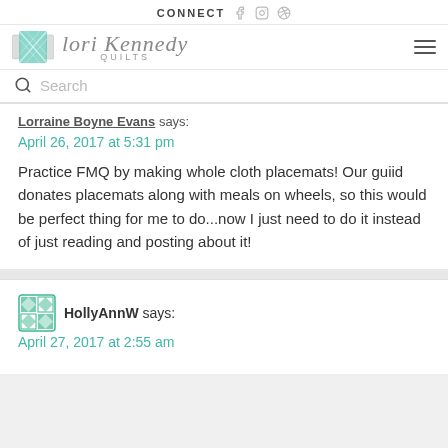CONNECT — Lori Kennedy Quilts — navigation header with social icons and search
Lorraine Boyne Evans says:
April 26, 2017 at 5:31 pm

Practice FMQ by making whole cloth placemats! Our guiid donates placemats along with meals on wheels, so this would be perfect thing for me to do...now I just need to do it instead of just reading and posting about it!
HollyAnnW says:
April 27, 2017 at 2:55 am